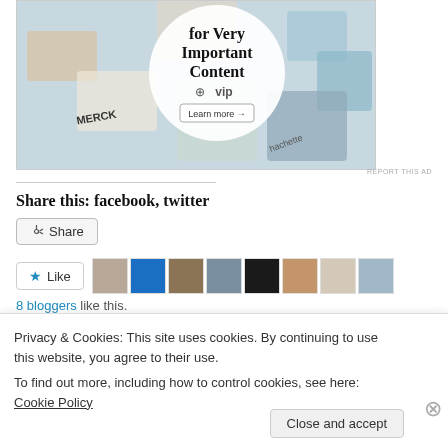[Figure (screenshot): Advertisement banner showing WordPress VIP promotional image with logos including Merck, Hachette, and others with text 'for Very Important Content' and 'Learn more' button]
REPORT THIS AD
Share this: facebook, twitter
Share
Like
8 bloggers like this.
Privacy & Cookies: This site uses cookies. By continuing to use this website, you agree to their use. To find out more, including how to control cookies, see here: Cookie Policy
Close and accept